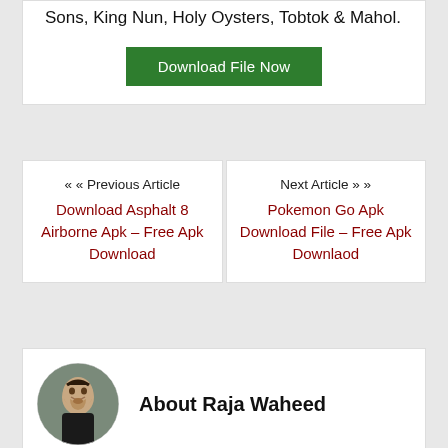Sons, King Nun, Holy Oysters, Tobtok & Mahol.
[Figure (other): Green 'Download File Now' button]
« « Previous Article
Download Asphalt 8 Airborne Apk – Free Apk Download
Next Article » »
Pokemon Go Apk Download File – Free Apk Downlaod
[Figure (photo): Circular profile photo of Raja Waheed, a young man with a beard wearing a black jacket]
About Raja Waheed